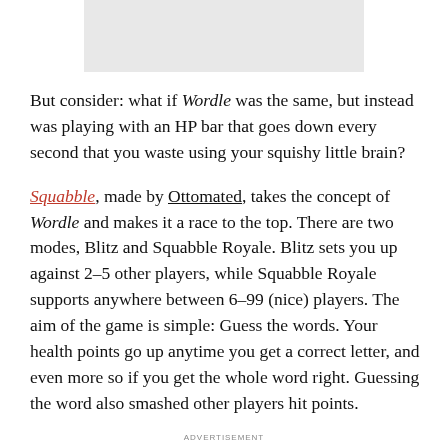[Figure (other): Gray rectangular placeholder image at top center of page]
But consider: what if Wordle was the same, but instead was playing with an HP bar that goes down every second that you waste using your squishy little brain?
Squabble, made by Ottomated, takes the concept of Wordle and makes it a race to the top. There are two modes, Blitz and Squabble Royale. Blitz sets you up against 2-5 other players, while Squabble Royale supports anywhere between 6-99 (nice) players. The aim of the game is simple: Guess the words. Your health points go up anytime you get a correct letter, and even more so if you get the whole word right. Guessing the word also smashed other players hit points.
ADVERTISEMENT